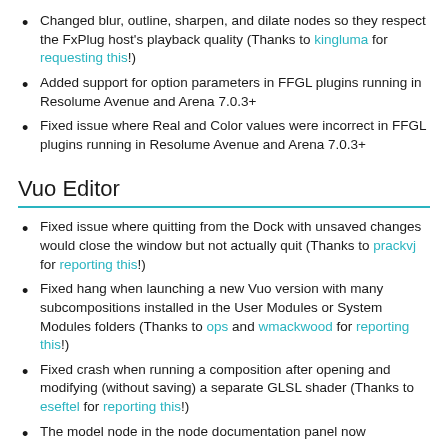Changed blur, outline, sharpen, and dilate nodes so they respect the FxPlug host's playback quality (Thanks to kingluma for requesting this!)
Added support for option parameters in FFGL plugins running in Resolume Avenue and Arena 7.0.3+
Fixed issue where Real and Color values were incorrect in FFGL plugins running in Resolume Avenue and Arena 7.0.3+
Vuo Editor
Fixed issue where quitting from the Dock with unsaved changes would close the window but not actually quit (Thanks to prackvj for reporting this!)
Fixed hang when launching a new Vuo version with many subcompositions installed in the User Modules or System Modules folders (Thanks to ops and wmackwood for reporting this!)
Fixed crash when running a composition after opening and modifying (without saving) a separate GLSL shader (Thanks to eseftel for reporting this!)
The model node in the node documentation panel now...